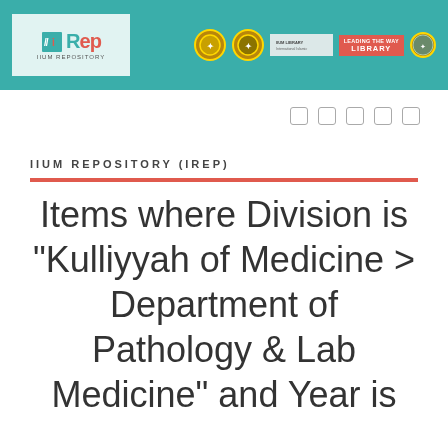[Figure (logo): IIUM Repository (IREP) logo on teal header bar with university emblems and LIBRARY badge]
IIUM REPOSITORY (IREP)
Items where Division is "Kulliyyah of Medicine > Department of Pathology & Lab Medicine" and Year is